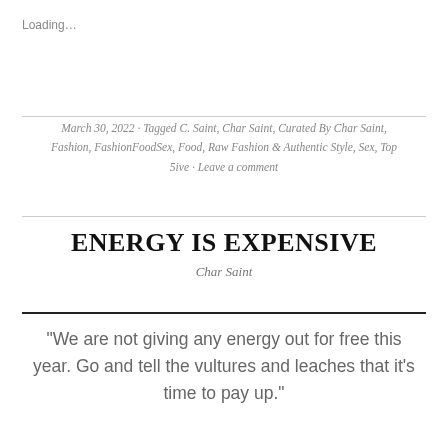Loading…
March 30, 2022 · Tagged C. Saint, Char Saint, Curated By Char Saint, Fashion, FashionFoodSex, Food, Raw Fashion & Authentic Style, Sex, Top 5ive · Leave a comment
ENERGY IS EXPENSIVE
Char Saint
“We are not giving any energy out for free this year. Go and tell the vultures and leaches that it’s time to pay up.”